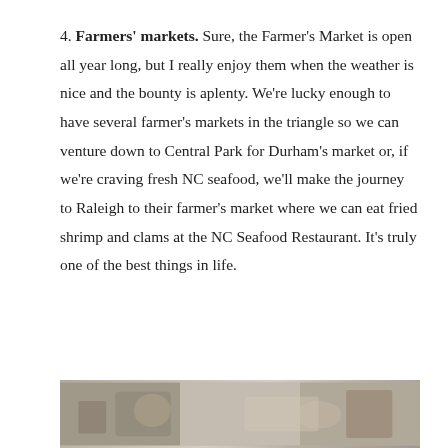4. Farmers' markets. Sure, the Farmer's Market is open all year long, but I really enjoy them when the weather is nice and the bounty is aplenty. We're lucky enough to have several farmer's markets in the triangle so we can venture down to Central Park for Durham's market or, if we're craving fresh NC seafood, we'll make the journey to Raleigh to their farmer's market where we can eat fried shrimp and clams at the NC Seafood Restaurant. It's truly one of the best things in life.
[Figure (photo): Partial photo visible at bottom of page, appears to show outdoor market or food scene]